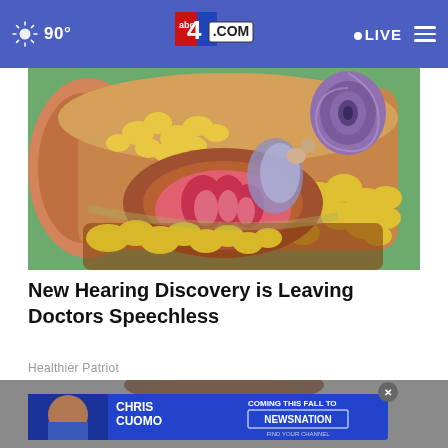90° abc4.com LIVE
[Figure (illustration): Cross-section anatomical illustration of the human ear showing outer ear canal, yellow wax glands, pink cochlea-like structure, and purple spiral cochlea against a green and brown background.]
New Hearing Discovery is Leaving Doctors Speechless
Healthier Patriot
[Figure (screenshot): Video thumbnail showing a close-up of a person's face and a blue advertisement banner for Chris Cuomo Coming This Fall to NewsNation - Find Your Channel, with a close button (X) overlay.]